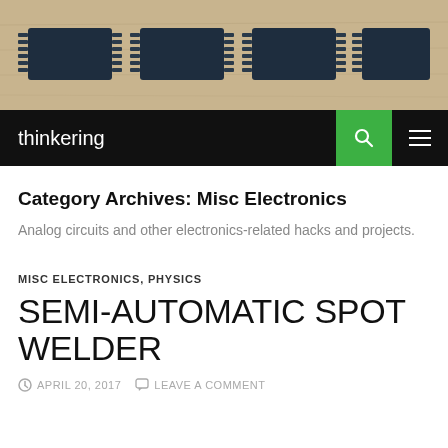[Figure (photo): Header photo showing four dark blue integrated circuit (IC) chips in DIP packages laid flat on a wooden surface]
thinkering
Category Archives: Misc Electronics
Analog circuits and other electronics-related hacks and projects.
MISC ELECTRONICS, PHYSICS
SEMI-AUTOMATIC SPOT WELDER
APRIL 20, 2017   LEAVE A COMMENT